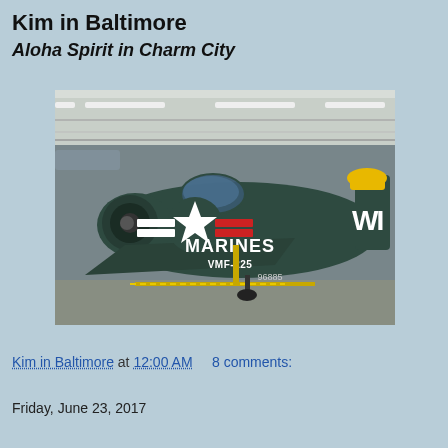Kim in Baltimore
Aloha Spirit in Charm City
[Figure (photo): A dark green military aircraft labeled MARINES VMF-225 with a white star insignia and 'WI' on the tail in yellow and white, displayed inside a hangar.]
Kim in Baltimore at 12:00 AM    8 comments:
Friday, June 23, 2017